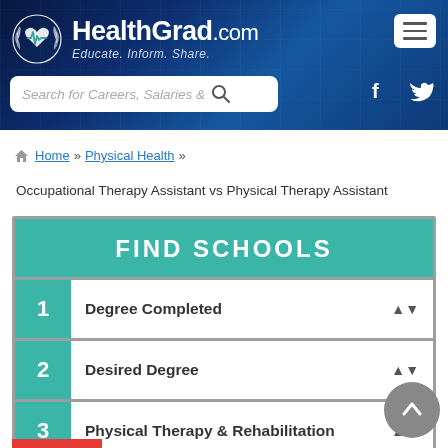[Figure (screenshot): HealthGrad.com website header with logo (heart with ECG line), tagline 'Educate. Inform. Share.', search bar, menu button, and social icons for Facebook and Twitter on a dark blue hospital corridor background.]
Search for Careers, Salaries &
Home » Physical Health »
Occupational Therapy Assistant vs Physical Therapy Assistant
FIND SCHOOLS
1  Degree Completed
2  Desired Degree
3  Physical Therapy & Rehabilitation